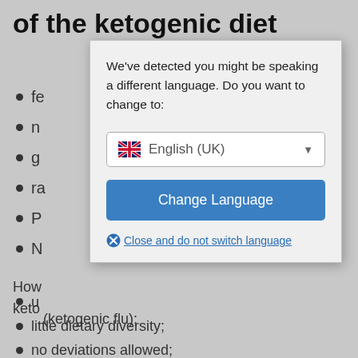of the ketogenic diet
fe
n
g
ra
P
N
[Figure (screenshot): Language selection modal dialog with UK flag, English (UK) dropdown, Change Language button, and Close and do not switch language link]
How
keto
u
(ketogenic flu);
little dietary diversity;
no deviations allowed;